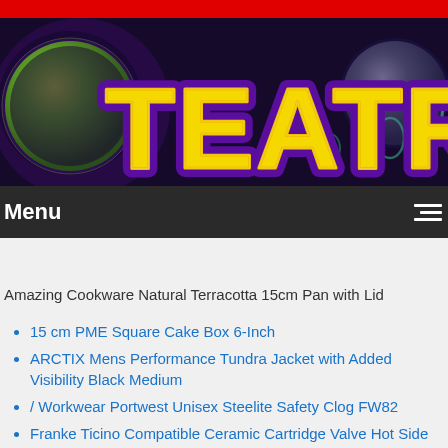[Figure (illustration): Red top bar followed by a banner image showing colorful 'TEATR BA' text in yellow with purple outline on a dark purple/black background with decorative spherical shapes]
Menu
Amazing Cookware Natural Terracotta 15cm Pan with Lid
15 cm PME Square Cake Box 6-Inch
ARCTIX Mens Performance Tundra Jacket with Added Visibility Black Medium
/ Workwear Portwest Unisex Steelite Safety Clog FW82
Franke Ticino Compatible Ceramic Cartridge Valve Hot Side 3794R-C